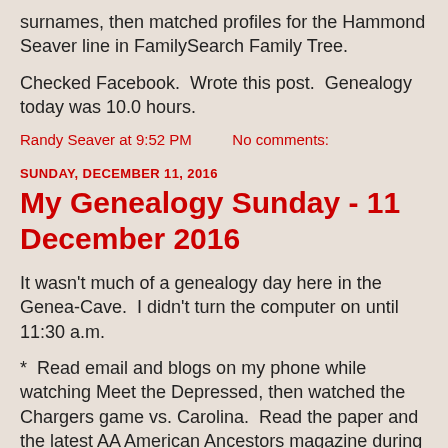surnames, then matched profiles for the Hammond Seaver line in FamilySearch Family Tree.
Checked Facebook.  Wrote this post.  Genealogy today was 10.0 hours.
Randy Seaver at 9:52 PM   No comments:
SUNDAY, DECEMBER 11, 2016
My Genealogy Sunday - 11 December 2016
It wasn't much of a genealogy day here in the Genea-Cave.  I didn't turn the computer on until 11:30 a.m.
*  Read email and blogs on my phone while watching Meet the Depressed, then watched the Chargers game vs. Carolina.  Read the paper and the latest AA American Ancestors magazine during breaks.  Bolts got waxed 28-16 and it wasn't that close.  Worst game of the year.  So now I